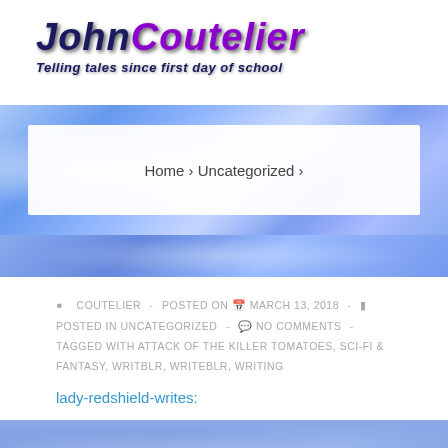[Figure (logo): John Coutelier blog logo with tagline 'Telling tales since first day of school']
[Figure (photo): Blue electric/crystal fractal background banner]
Home › Uncategorized ›
COUTELIER - POSTED ON MARCH 13, 2018 - POSTED IN UNCATEGORIZED - NO COMMENTS - TAGGED WITH ATTACK OF THE KILLER TOMATOES, SCI-FI & FANTASY, WRITBLR, WRITEBLR, WRITING
lady-redshield-writes: